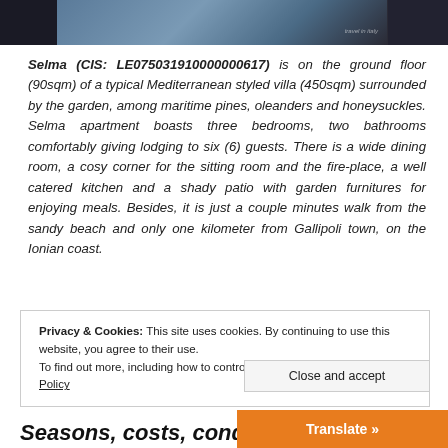[Figure (photo): Partial photo strip at top showing a Mediterranean styled villa exterior, dark toned image.]
Selma (CIS: LE075031910000000617) is on the ground floor (90sqm) of a typical Mediterranean styled villa (450sqm) surrounded by the garden, among maritime pines, oleanders and honeysuckles. Selma apartment boasts three bedrooms, two bathrooms comfortably giving lodging to six (6) guests. There is a wide dining room, a cosy corner for the sitting room and the fire-place, a well catered kitchen and a shady patio with garden furnitures for enjoying meals. Besides, it is just a couple minutes walk from the sandy beach and only one kilometer from Gallipoli town, on the Ionian coast.
Privacy & Cookies: This site uses cookies. By continuing to use this website, you agree to their use. To find out more, including how to control cookies, see here: Cookie Policy
Close and accept
Translate »
Seasons, costs, conditio…